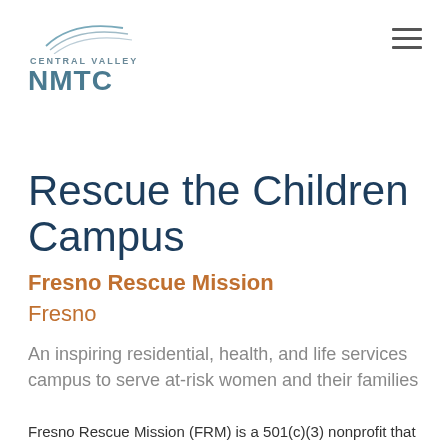[Figure (logo): Central Valley NMTC logo with arc lines above text]
[Figure (other): Hamburger menu icon (three horizontal lines)]
Rescue the Children Campus
Fresno Rescue Mission
Fresno
An inspiring residential, health, and life services campus to serve at-risk women and their families
Fresno Rescue Mission (FRM) is a 501(c)(3) nonprofit that serves impoverished families and neglected and abused